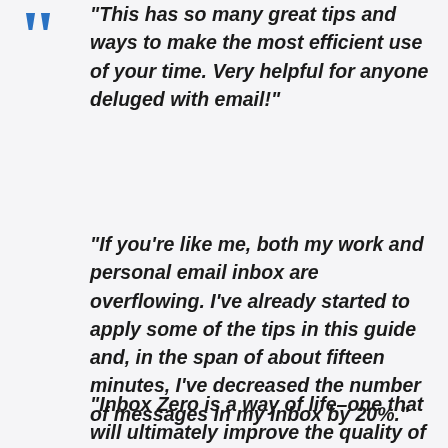“This has so many great tips and ways to make the most efficient use of your time. Very helpful for anyone deluged with email!”
“If you’re like me, both my work and personal email inbox are overflowing. I’ve already started to apply some of the tips in this guide and, in the span of about fifteen minutes, I’ve decreased the number of messages in my inbox by 20%.”
“Inbox Zero is a way of life–one that will ultimately improve the quality of your own in every respect once you break your email chains.”